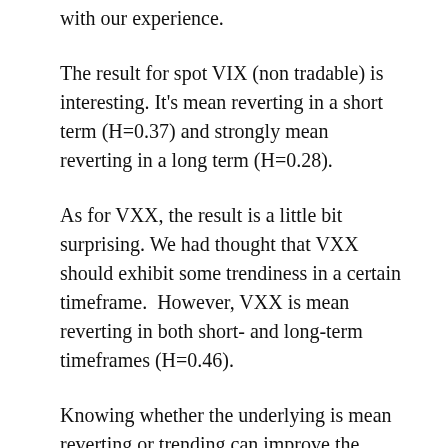with our experience.
The result for spot VIX (non tradable) is interesting. It's mean reverting in a short term (H=0.37) and strongly mean reverting in a long term (H=0.28).
As for VXX, the result is a little bit surprising. We had thought that VXX should exhibit some trendiness in a certain timeframe.  However, VXX is mean reverting in both short- and long-term timeframes (H=0.46).
Knowing whether the underlying is mean reverting or trending can improve the efficiency of the hedging process.